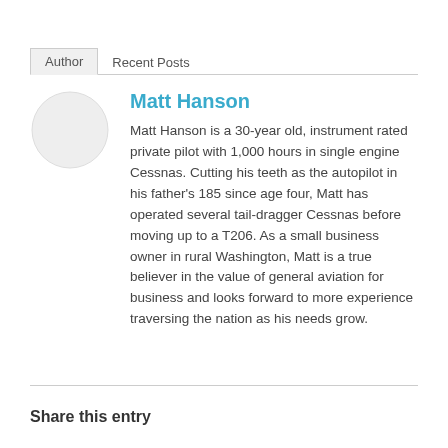Author | Recent Posts
[Figure (illustration): Circular avatar placeholder (empty light gray circle)]
Matt Hanson
Matt Hanson is a 30-year old, instrument rated private pilot with 1,000 hours in single engine Cessnas. Cutting his teeth as the autopilot in his father's 185 since age four, Matt has operated several tail-dragger Cessnas before moving up to a T206. As a small business owner in rural Washington, Matt is a true believer in the value of general aviation for business and looks forward to more experience traversing the nation as his needs grow.
Share this entry